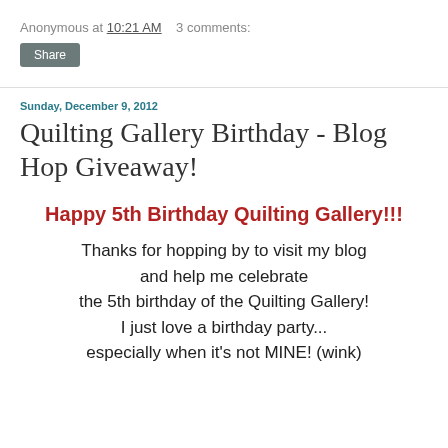Anonymous at 10:21 AM   3 comments:
Share
Sunday, December 9, 2012
Quilting Gallery Birthday - Blog Hop Giveaway!
Happy 5th Birthday Quilting Gallery!!!
Thanks for hopping by to visit my blog and help me celebrate the 5th birthday of the Quilting Gallery! I just love a birthday party... especially when it's not MINE! (wink)